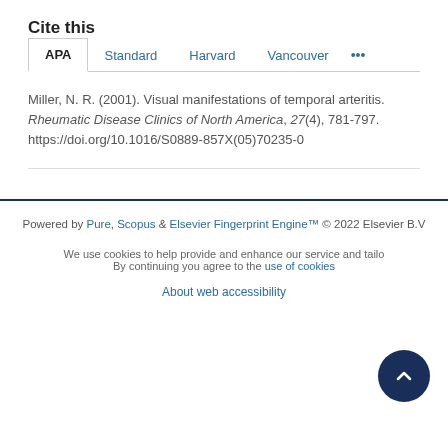Cite this
APA  Standard  Harvard  Vancouver  ...
Miller, N. R. (2001). Visual manifestations of temporal arteritis. Rheumatic Disease Clinics of North America, 27(4), 781-797. https://doi.org/10.1016/S0889-857X(05)70235-0
Powered by Pure, Scopus & Elsevier Fingerprint Engine™ © 2022 Elsevier B.V
We use cookies to help provide and enhance our service and tailor content. By continuing you agree to the use of cookies
About web accessibility